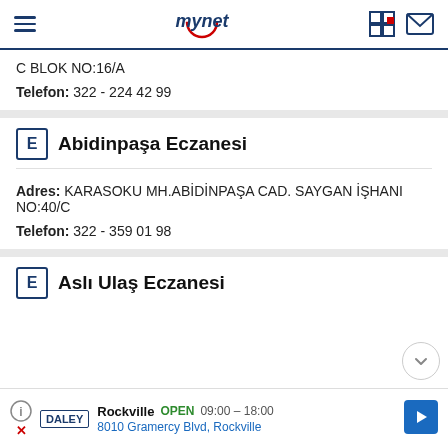mynet
C BLOK NO:16/A
Telefon: 322 - 224 42 99
Abidinpaşa Eczanesi
Adres: KARASOKU MH.ABİDİNPAŞA CAD. SAYGAN İŞHANI NO:40/C
Telefon: 322 - 359 01 98
Aslı Ulaş Eczanesi
Rockville OPEN 09:00 – 18:00 8010 Gramercy Blvd, Rockville